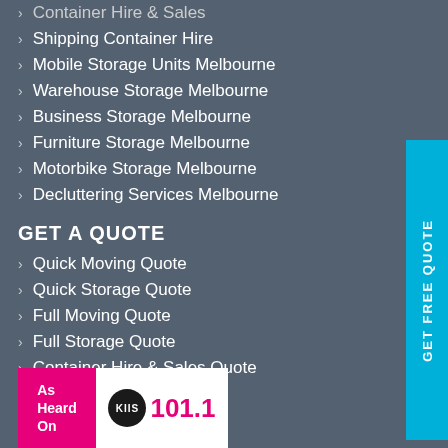Shipping Container Hire
Mobile Storage Units Melbourne
Warehouse Storage Melbourne
Business Storage Melbourne
Furniture Storage Melbourne
Motorbike Storage Melbourne
Decluttering Services Melbourne
GET A QUOTE
Quick Moving Quote
Quick Storage Quote
Full Moving Quote
Full Storage Quote
Container Hire & Sales Quote
[Figure (logo): As Heard On KIIS 101.1 radio badge with pink left panel and white right panel containing KIIS circle logo and 101.1 text]